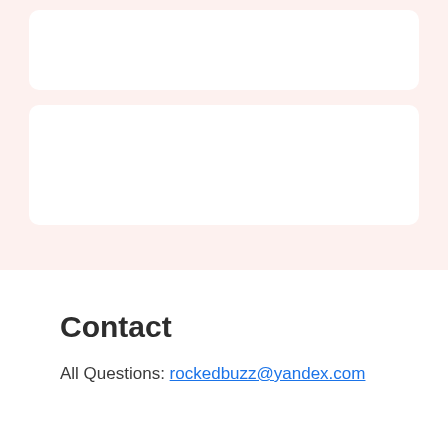[Figure (other): Two white rounded-rectangle card boxes on a light pink background]
Contact
All Questions: rockedbuzz@yandex.com
Comments